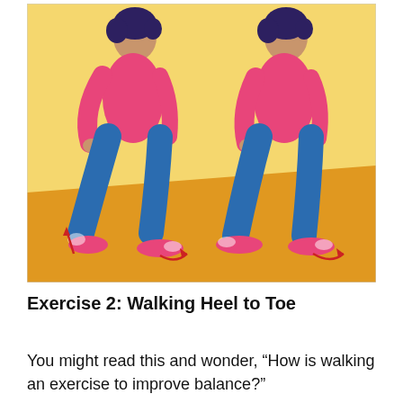[Figure (illustration): Illustration showing two side-view figures of a woman walking heel to toe. Both figures wear pink tops, blue pants, and pink sneakers. The background has a yellow wall and orange floor. Red arrows near the feet indicate the heel-to-toe walking motion — one arrow pointing upward at the heel of the left figure, one pointing forward at the toe, and one pointing outward at the toe of the right figure.]
Exercise 2: Walking Heel to Toe
You might read this and wonder, “How is walking an exercise to improve balance?”